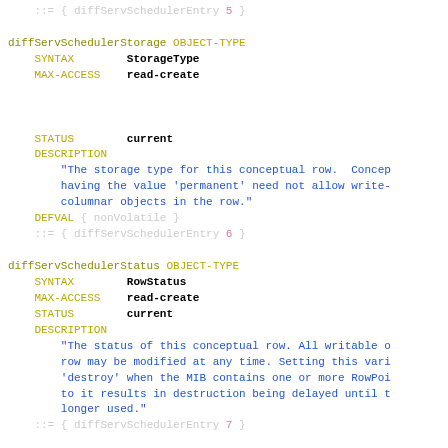::= { diffServSchedulerEntry 5 }

diffServSchedulerStorage OBJECT-TYPE
    SYNTAX        StorageType
    MAX-ACCESS    read-create



    STATUS        current
    DESCRIPTION
        "The storage type for this conceptual row. Concep...
        having the value 'permanent' need not allow write-...
        columnar objects in the row."
    DEFVAL { nonVolatile }
    ::= { diffServSchedulerEntry 6 }

diffServSchedulerStatus OBJECT-TYPE
    SYNTAX        RowStatus
    MAX-ACCESS    read-create
    STATUS        current
    DESCRIPTION
        "The status of this conceptual row. All writable o...
        row may be modified at any time. Setting this vari...
        'destroy' when the MIB contains one or more RowPoi...
        to it results in destruction being delayed until t...
        longer used."
    ::= { diffServSchedulerEntry 7 }

--
-- OIDs for diffServTBParamType definitions